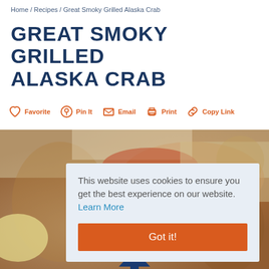Home / Recipes / Great Smoky Grilled Alaska Crab
GREAT SMOKY GRILLED ALASKA CRAB
Favorite  Pin It  Email  Print  Copy Link
[Figure (photo): Photo of grilled Alaska crab on a plate with lemon]
This website uses cookies to ensure you get the best experience on our website. Learn More
Got it!